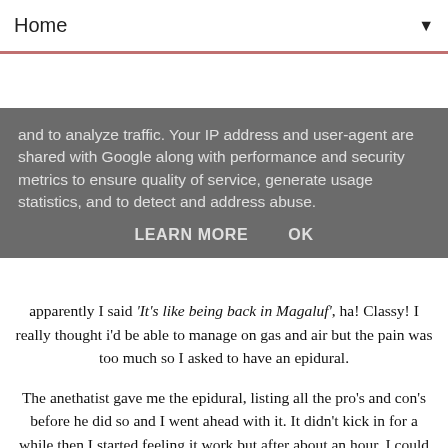Home ▼
and to analyze traffic. Your IP address and user-agent are shared with Google along with performance and security metrics to ensure quality of service, generate usage statistics, and to detect and address abuse.
LEARN MORE   OK
apparently I said 'It's like being back in Magaluf', ha! Classy! I really thought i'd be able to manage on gas and air but the pain was too much so I asked to have an epidural.
The anethatist gave me the epidural, listing all the pro's and con's before he did so and I went ahead with it. It didn't kick in for a while then I started feeling it work but after about an hour, I could feel the contractions again and I was back in pain. The epidural hadn't been working properly and had numbed more of my left side than my right so the doctor had to come back and sort it out. While he did that, he also topped it up for me because I was in pain again. The pain kept coming back and even though I was getting 15ml of the epidural each hour, with a 30ml top up every hour alongside that because it just wasn't working like it was meant to! All these